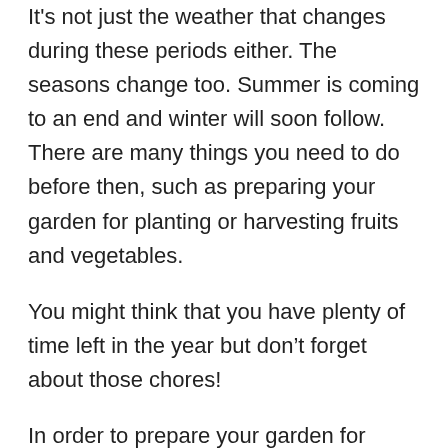It's not just the weather that changes during these periods either. The seasons change too. Summer is coming to an end and winter will soon follow. There are many things you need to do before then, such as preparing your garden for planting or harvesting fruits and vegetables.
You might think that you have plenty of time left in the year but don't forget about those chores!
In order to prepare your garden for planting, you'll need some seeds. Seeds are the first thing you want to plant when it comes to growing a new crop. They're very useful because they germinate quickly and produce healthy crops every year.